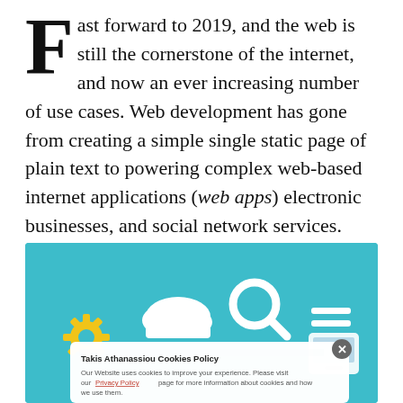Fast forward to 2019, and the web is still the cornerstone of the internet, and now an ever increasing number of use cases. Web development has gone from creating a simple single static page of plain text to powering complex web-based internet applications (web apps) electronic businesses, and social network services.
[Figure (screenshot): A teal-background web development illustration showing cloud, search, and mobile device icons, with a cookie consent popup overlay reading 'Takis Athanassiou Cookies Policy' with a Privacy Policy link.]